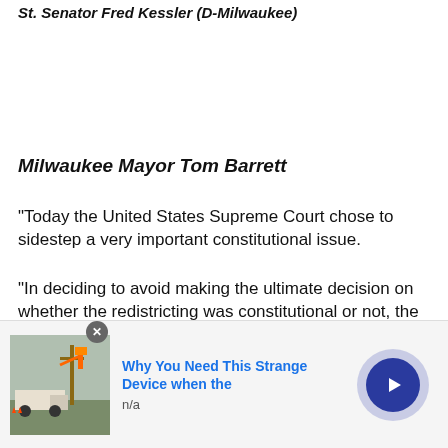St. Senator Fred Kessler (D-Milwaukee)
Milwaukee Mayor Tom Barrett
“Today the United States Supreme Court chose to sidestep a very important constitutional issue.
"In deciding to avoid making the ultimate decision on whether the redistricting was constitutional or not, the Court kicked the can down the road. It’s clear the redistricting plan put in place by the Republican majority is a blatant attempt to tilt the scales in their
[Figure (photo): Advertisement overlay showing an image of utility workers and a truck near power lines, with text 'Why You Need This Strange Device when the' and 'n/a', and a circular play button.]